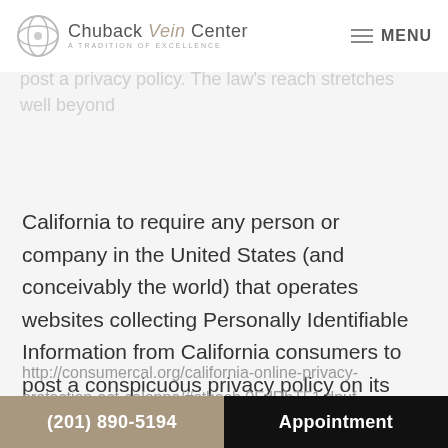Chuback Vein Center — A Tradition of Excellence | MENU
CalOPPA is the first state law in the nation to require commercial websites and online services to post a privacy policy. The law's reach stretches well beyond California to require any person or company in the United States (and conceivably the world) that operates websites collecting Personally Identifiable Information from California consumers to post a conspicuous privacy policy on its website stating exactly which information is being collected and those individuals or companies with whom it is being shared. Please see:
http://consumercal.org/california-online-privacy-protection-act-caloppa/#sthash.0FdRbT51.dpuf
(201) 890-5194   Appointment